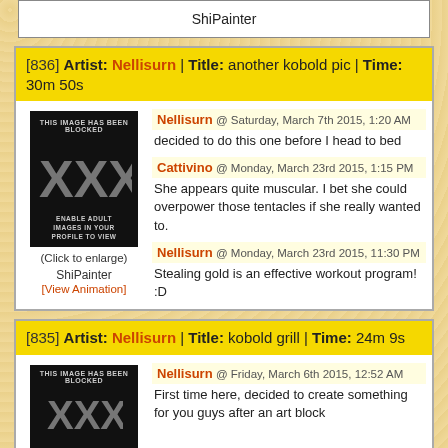ShiPainter
[836] Artist: Nellisurn | Title: another kobold pic | Time: 30m 50s
[Figure (illustration): Blocked adult image with XXX text on black background]
(Click to enlarge)
ShiPainter
[View Animation]
Nellisurn @ Saturday, March 7th 2015, 1:20 AM
decided to do this one before I head to bed
Cattivino @ Monday, March 23rd 2015, 1:15 PM
She appears quite muscular. I bet she could overpower those tentacles if she really wanted to.
Nellisurn @ Monday, March 23rd 2015, 11:30 PM
Stealing gold is an effective workout program! :D
[835] Artist: Nellisurn | Title: kobold grill | Time: 24m 9s
[Figure (illustration): Blocked adult image with XXX text on black background]
Nellisurn @ Friday, March 6th 2015, 12:52 AM
First time here, decided to create something for you guys after an art block